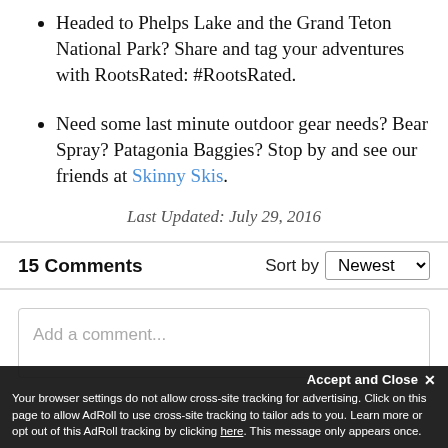Headed to Phelps Lake and the Grand Teton National Park? Share and tag your adventures with RootsRated: #RootsRated.
Need some last minute outdoor gear needs? Bear Spray? Patagonia Baggies? Stop by and see our friends at Skinny Skis.
Last Updated: July 29, 2016
15 Comments
Add a comment...
Accept and Close ×
Your browser settings do not allow cross-site tracking for advertising. Click on this page to allow AdRoll to use cross-site tracking to tailor ads to you. Learn more or opt out of this AdRoll tracking by clicking here. This message only appears once.